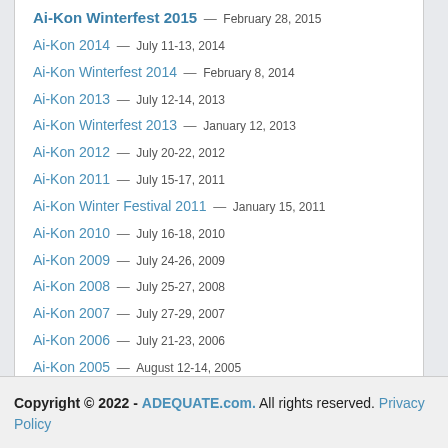Ai-Kon Winterfest 2015 — February 28, 2015
Ai-Kon 2014 — July 11-13, 2014
Ai-Kon Winterfest 2014 — February 8, 2014
Ai-Kon 2013 — July 12-14, 2013
Ai-Kon Winterfest 2013 — January 12, 2013
Ai-Kon 2012 — July 20-22, 2012
Ai-Kon 2011 — July 15-17, 2011
Ai-Kon Winter Festival 2011 — January 15, 2011
Ai-Kon 2010 — July 16-18, 2010
Ai-Kon 2009 — July 24-26, 2009
Ai-Kon 2008 — July 25-27, 2008
Ai-Kon 2007 — July 27-29, 2007
Ai-Kon 2006 — July 21-23, 2006
Ai-Kon 2005 — August 12-14, 2005
Ai-Kon 2004 — July 30 - August 1, 2004
Ai-Kon 2003 — July 25-27, 2003
Ai-Kon 2001 — July 20-22, 2001
Copyright © 2022 - ADEQUATE.com. All rights reserved. Privacy Policy